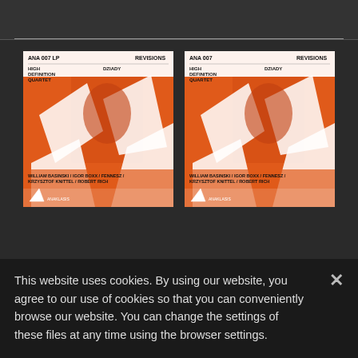[Figure (screenshot): Two album covers for 'DZIADY' by High Definition Quartet on the Anaklasis label, both showing 'REVISIONS'. Left cover labeled 'ANA 007 LP', right labeled 'ANA 007'. Artists: William Basinski / Igor Boxx / Fennesz / Krzysztof Knittel / Robert Rich. Orange background with abstract white geometric shapes and a grayscale portrait.]
This website uses cookies. By using our website, you agree to our use of cookies so that you can conveniently browse our website. You can change the settings of these files at any time using the browser settings.